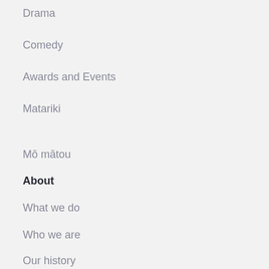Drama
Comedy
Awards and Events
Matariki
Mō mātou
About
What we do
Who we are
Our history
Documents
Contact